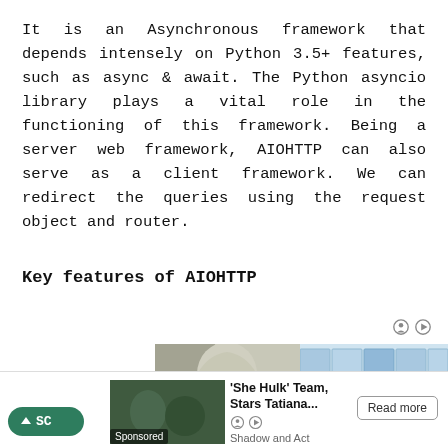It is an Asynchronous framework that depends intensely on Python 3.5+ features, such as async & await. The Python asyncio library plays a vital role in the functioning of this framework. Being a server web framework, AIOHTTP can also serve as a client framework. We can redirect the queries using the request object and router.
Key features of AIOHTTP
[Figure (photo): Advertisement area with icons and image showing a woman wearing a hijab with AR glasses overlay on the left side, and a lab/medical scene on the right side.]
[Figure (screenshot): Bottom notification/ad bar showing a green scroll-up button, a news thumbnail with two people outdoors, headline 'She Hulk' Team, Stars Tatiana... from Shadow and Act, and a Read more button.]